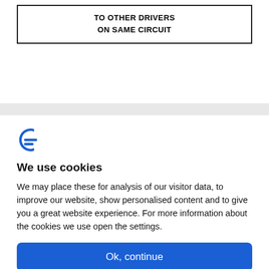| TO OTHER DRIVERS
ON SAME CIRCUIT |
We use cookies
We may place these for analysis of our visitor data, to improve our website, show personalised content and to give you a great website experience. For more information about the cookies we use open the settings.
Ok, continue
Deny
No, adjust